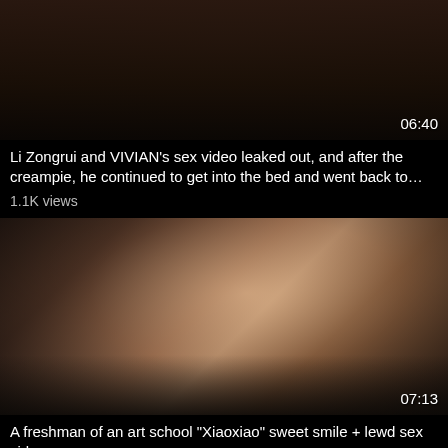[Figure (screenshot): Video thumbnail showing dark bedroom scene, duration 06:40]
Li Zongrui and VIVIAN's sex video leaked out, and after the creampie, he continued to get into the bed and went back to…
1.1K views
[Figure (screenshot): Video thumbnail showing figures, duration 07:13]
A freshman of an art school "Xiaoxiao" sweet smile + lewd sex video
894 views